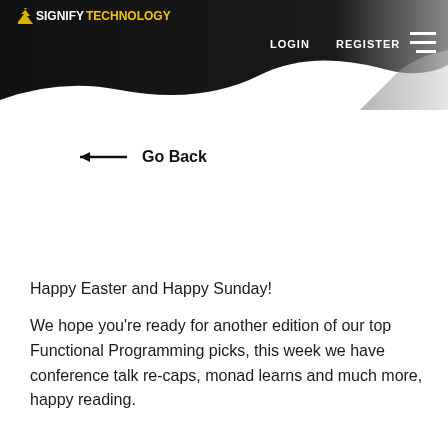SIGNIFY TECHNOLOGY  LOGIN  REGISTER
← Go Back
Happy Easter and Happy Sunday!
We hope you're ready for another edition of our top Functional Programming picks, this week we have conference talk re-caps, monad learns and much more, happy reading.